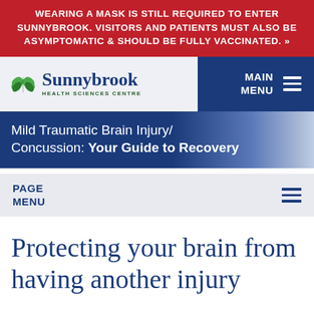WEARING A MASK IS STILL REQUIRED TO ENTER SUNNYBROOK. VISITORS AND PATIENTS MUST ALSO BE ASYMPTOMATIC & SHOULD BE FULLY VACCINATED. »
[Figure (logo): Sunnybrook Health Sciences Centre logo with green leaf icon]
MAIN MENU
Mild Traumatic Brain Injury/ Concussion: Your Guide to Recovery
PAGE MENU
Protecting your brain from having another injury